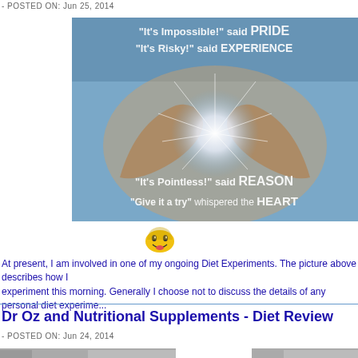- POSTED ON: Jun 25, 2014
[Figure (photo): Motivational image with two hands forming a heart shape with light glowing through. Text overlay reads: "It's Impossible!" said PRIDE / "It's Risky!" said EXPERIENCE / "It's Pointless!" said REASON / "Give it a try" whispered the HEART]
[Figure (illustration): Small cartoon smiley face emoji]
At present, I am involved in one of my ongoing Diet Experiments. The picture above describes how I experiment this morning. Generally I choose not to discuss the details of any personal diet experime...
Dr Oz and Nutritional Supplements - Diet Review
- POSTED ON: Jun 24, 2014
[Figure (photo): Thumbnail images at bottom of page - left thumbnail showing a person, right thumbnail partially visible]